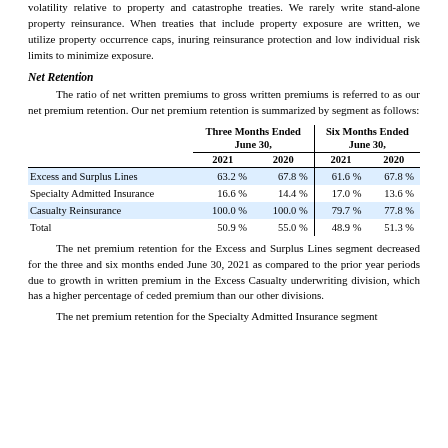volatility relative to property and catastrophe treaties. We rarely write stand-alone property reinsurance. When treaties that include property exposure are written, we utilize property occurrence caps, inuring reinsurance protection and low individual risk limits to minimize exposure.
Net Retention
The ratio of net written premiums to gross written premiums is referred to as our net premium retention. Our net premium retention is summarized by segment as follows:
|  | Three Months Ended June 30, 2021 | Three Months Ended June 30, 2020 | Six Months Ended June 30, 2021 | Six Months Ended June 30, 2020 |
| --- | --- | --- | --- | --- |
| Excess and Surplus Lines | 63.2 % | 67.8 % | 61.6 % | 67.8 % |
| Specialty Admitted Insurance | 16.6 % | 14.4 % | 17.0 % | 13.6 % |
| Casualty Reinsurance | 100.0 % | 100.0 % | 79.7 % | 77.8 % |
| Total | 50.9 % | 55.0 % | 48.9 % | 51.3 % |
The net premium retention for the Excess and Surplus Lines segment decreased for the three and six months ended June 30, 2021 as compared to the prior year periods due to growth in written premium in the Excess Casualty underwriting division, which has a higher percentage of ceded premium than our other divisions.
The net premium retention for the Specialty Admitted Insurance segment